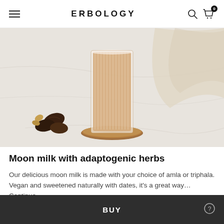ERBOLOGY
[Figure (photo): A glass of creamy moon milk (latte-colored beverage) in a ribbed glass cup on a wooden coaster, with dates and nuts scattered nearby on a light marble surface, with a linen cloth in the background.]
Moon milk with adaptogenic herbs
Our delicious moon milk is made with your choice of amla or triphala. Vegan and sweetened naturally with dates, it's a great way… Continue
BUY